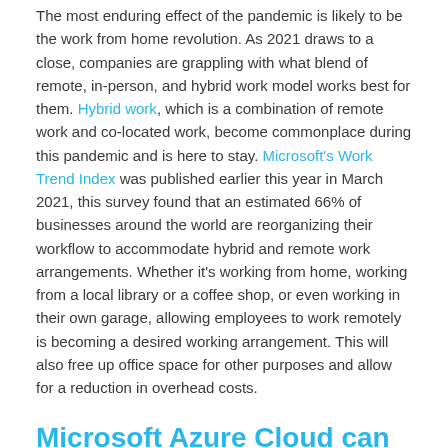The most enduring effect of the pandemic is likely to be the work from home revolution. As 2021 draws to a close, companies are grappling with what blend of remote, in-person, and hybrid work model works best for them. Hybrid work, which is a combination of remote work and co-located work, become commonplace during this pandemic and is here to stay. Microsoft's Work Trend Index was published earlier this year in March 2021, this survey found that an estimated 66% of businesses around the world are reorganizing their workflow to accommodate hybrid and remote work arrangements. Whether it's working from home, working from a local library or a coffee shop, or even working in their own garage, allowing employees to work remotely is becoming a desired working arrangement. This will also free up office space for other purposes and allow for a reduction in overhead costs.
Microsoft Azure Cloud can help drive innovation and success in a